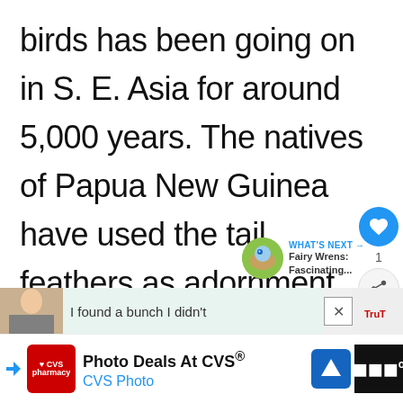birds has been going on in S. E. Asia for around 5,000 years. The natives of Papua New Guinea have used the tail feathers as adornment for as long as is known and probably long before that.
[Figure (screenshot): UI overlay with like button (blue circle with heart icon), like count of 1, and share button (white circle with share icon)]
[Figure (screenshot): What's Next panel showing a small circular image of a bird and text 'WHAT'S NEXT → Fairy Wrens: Fascinating...']
[Figure (screenshot): Advertisement banner strip showing a person and text starting with 'I found a bunch I didn't']
[Figure (screenshot): Ad bar at bottom: CVS pharmacy logo, 'Photo Deals At CVS® CVS Photo', blue navigation icon, dark weather widget]